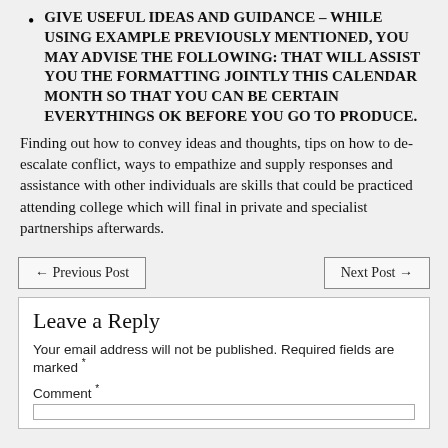GIVE USEFUL IDEAS AND GUIDANCE – WHILE USING EXAMPLE PREVIOUSLY MENTIONED, YOU MAY ADVISE THE FOLLOWING: THAT WILL ASSIST YOU THE FORMATTING JOINTLY THIS CALENDAR MONTH SO THAT YOU CAN BE CERTAIN EVERYTHINGS OK BEFORE YOU GO TO PRODUCE.
Finding out how to convey ideas and thoughts, tips on how to de-escalate conflict, ways to empathize and supply responses and assistance with other individuals are skills that could be practiced attending college which will final in private and specialist partnerships afterwards.
← Previous Post
Next Post →
Leave a Reply
Your email address will not be published. Required fields are marked *
Comment *